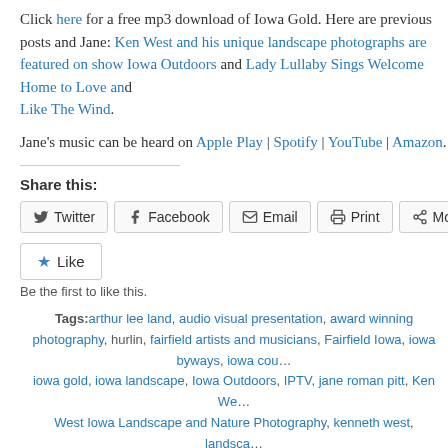Click here for a free mp3 download of Iowa Gold. Here are previous posts and Jane: Ken West and his unique landscape photographs are featured on show Iowa Outdoors and Lady Lullaby Sings Welcome Home to Love and Like The Wind.
Jane's music can be heard on Apple Play | Spotify | YouTube | Amazon.
Share this:
Twitter | Facebook | Email | Print | More
Like - Be the first to like this.
Tags: arthur lee land, audio visual presentation, award winning photography, hurlin, fairfield artists and musicians, Fairfield Iowa, iowa byways, iowa cou..., iowa gold, iowa landscape, Iowa Outdoors, IPTV, jane roman pitt, Ken We..., West Iowa Landscape and Nature Photography, kenneth west, landsca..., photographer, lauryn shapter, music video, national center for nature photo..., paul fauerso, photographer, Resource and Development Councils of Iowa, byways, singer/songwriter, song for iowa, tim britton
Posted in Music, Videos | 4 Comments »
Ken West and his unique landscape photograph